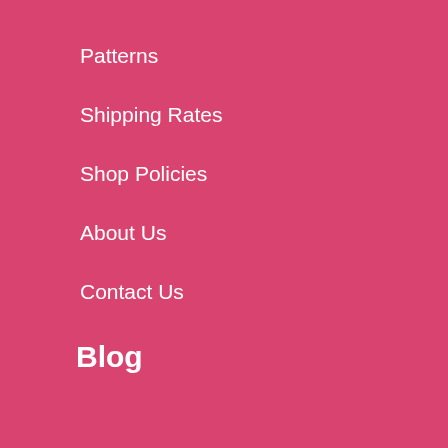Patterns
Shipping Rates
Shop Policies
About Us
Contact Us
Blog
Recent Posts
Blog Series
Blog Events
Blog FAQs
Project Gallery
Social